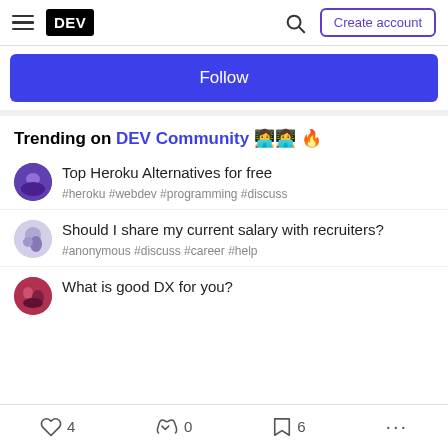DEV — Create account
Follow
Trending on DEV Community 👩‍💻👩‍💻 🔥
Top Heroku Alternatives for free
#heroku #webdev #programming #discuss
Should I share my current salary with recruiters?
#anonymous #discuss #career #help
What is good DX for you?
♡ 4   0   6   ...